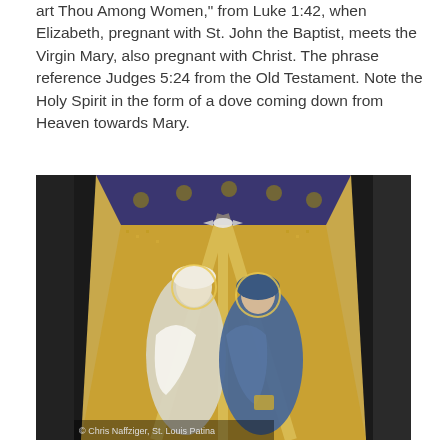art Thou Among Women," from Luke 1:42, when Elizabeth, pregnant with St. John the Baptist, meets the Virgin Mary, also pregnant with Christ. The phrase reference Judges 5:24 from the Old Testament. Note the Holy Spirit in the form of a dove coming down from Heaven towards Mary.
[Figure (photo): A photograph of a mosaic artwork depicting the Visitation scene: Elizabeth and the Virgin Mary meeting, with a dove (the Holy Spirit) descending from above. The mosaic has a golden background with blue and white figures. A copyright notice reads: © Chris Naffziger, St. Louis Patina.]